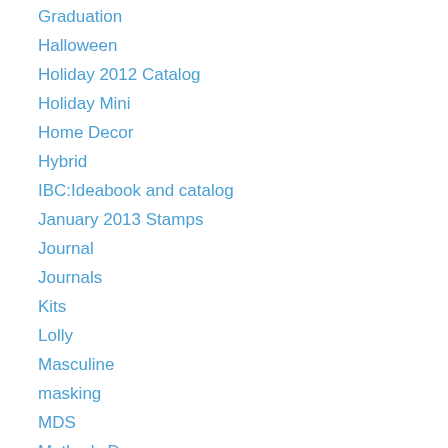Graduation
Halloween
Holiday 2012 Catalog
Holiday Mini
Home Decor
Hybrid
IBC:Ideabook and catalog
January 2013 Stamps
Journal
Journals
Kits
Lolly
Masculine
masking
MDS
Mother's Day
Mothers Day
My Paper Pumpkin
New Products
New Years